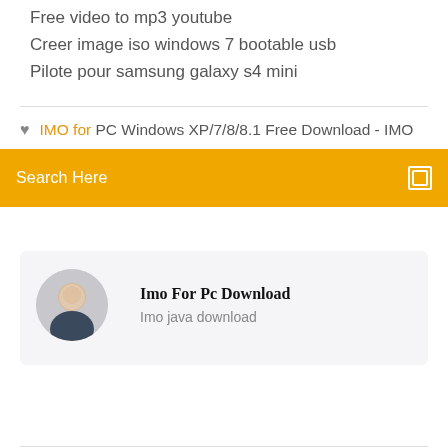Free video to mp3 youtube
Creer image iso windows 7 bootable usb
Pilote pour samsung galaxy s4 mini
IMO for PC Windows XP/7/8/8.1 Free Download - IMO
Search Here
Imo For Pc Download
Imo java download